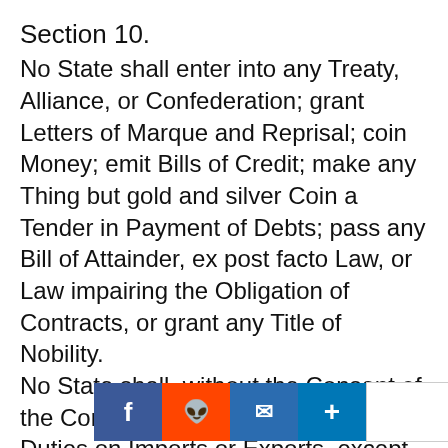Section 10.
No State shall enter into any Treaty, Alliance, or Confederation; grant Letters of Marque and Reprisal; coin Money; emit Bills of Credit; make any Thing but gold and silver Coin a Tender in Payment of Debts; pass any Bill of Attainder, ex post facto Law, or Law impairing the Obligation of Contracts, or grant any Title of Nobility.
No State shall, without the Consent of the Congress, lay any Imposts or Duties on Imports or Exports, except what may be absolutely necessary for executing it's inspection Laws: and the net Produce of all Duties and Imposts, laid by any State on Imports or Exports, shall be for the Use of the Treasury of the United States: and all such Laws shall be subject